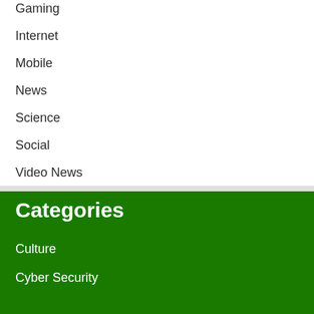Gaming
Internet
Mobile
News
Science
Social
Video News
Categories
Culture
Cyber Security